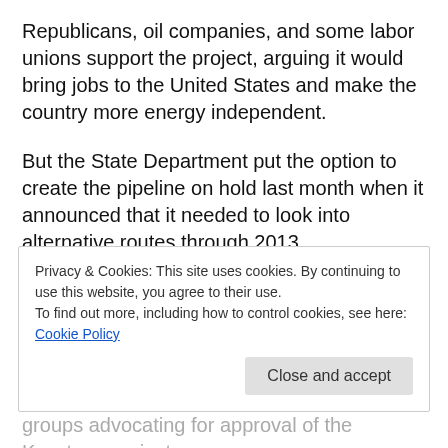Republicans, oil companies, and some labor unions support the project, arguing it would bring jobs to the United States and make the country more energy independent.
But the State Department put the option to create the pipeline on hold last month when it announced that it needed to look into alternative routes through 2013.
The issue resurfaced this week when the GOP tied a provision on Keystone to payroll tax legislation. The provision gives the administration 60 days to issue a permit for TransCanada Corp.'s $7 billion project unless President...
Privacy & Cookies: This site uses cookies. By continuing to use this website, you agree to their use.
To find out more, including how to control cookies, see here: Cookie Policy
groups advocating for approval of the Keystone project.